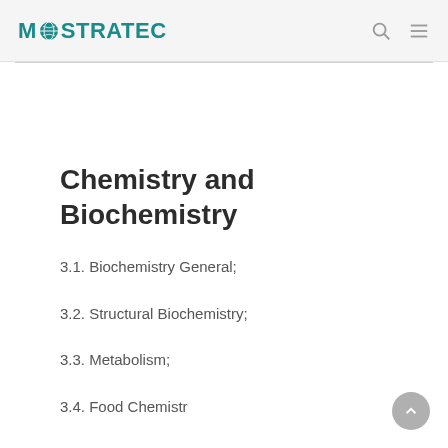MOSTRATEC
Chemistry and Biochemistry
3.1. Biochemistry General;
3.2. Structural Biochemistry;
3.3. Metabolism;
3.4. Food Chemistry (partially visible)